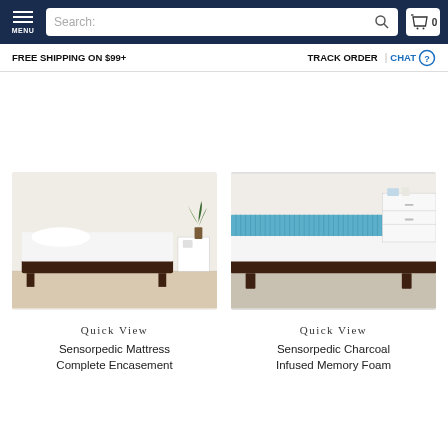MENU | Search: | 0
FREE SHIPPING ON $99+   TRACK ORDER | CHAT
[Figure (photo): Product photo: Single bed with white mattress on dark wood frame, white nightstand with green plant in background]
[Figure (photo): Product photo: Bed with blue/teal convoluted memory foam topper on dark wood frame, white dresser in background]
Quick View
Quick View
Sensorpedic Mattress Complete Encasement
Sensorpedic Charcoal Infused Memory Foam